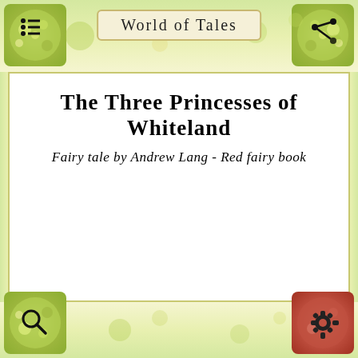World of Tales
The Three Princesses of Whiteland
Fairy tale by Andrew Lang - Red fairy book